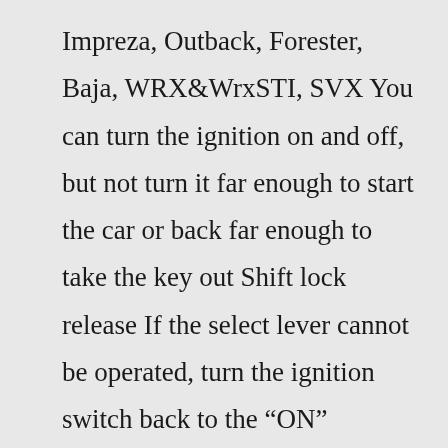Impreza, Outback, Forester, Baja, WRX&WrxSTI, SVX You can turn the ignition on and off, but not turn it far enough to start the car or back far enough to take the key out Shift lock release If the select lever cannot be operated, turn the ignition switch back to the “ON” position then move the select lever to the “P” position with the brake pedal depressed Impreza and Forester models will have this